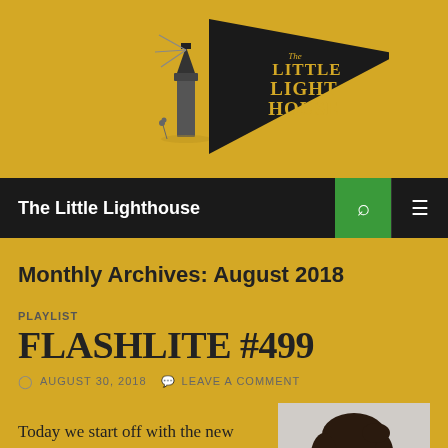[Figure (logo): The Little Lighthouse logo — a lighthouse illustration with a pennant banner reading 'The Little Lighthouse' on a golden yellow background]
The Little Lighthouse
Monthly Archives: August 2018
PLAYLIST
FLASHLITE #499
AUGUST 30, 2018   LEAVE A COMMENT
Today we start off with the new music from the Texan violin player Amanda Shires. Then we introduce
[Figure (photo): Portrait photo of a woman (Amanda Shires) with dark hair pulled back, on a white background]